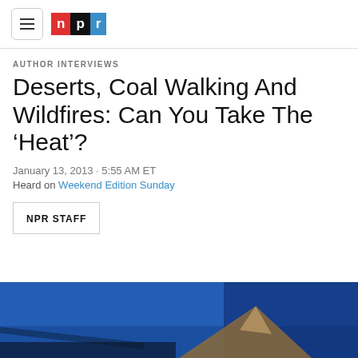NPR
AUTHOR INTERVIEWS
Deserts, Coal Walking And Wildfires: Can You Take The ‘Heat’?
January 13, 2013 · 5:55 AM ET
Heard on Weekend Edition Sunday
NPR STAFF
[Figure (photo): Photo showing a bright blue sky with a triangular shape, possibly a mountain or tent, partially visible at the bottom edge of the image.]